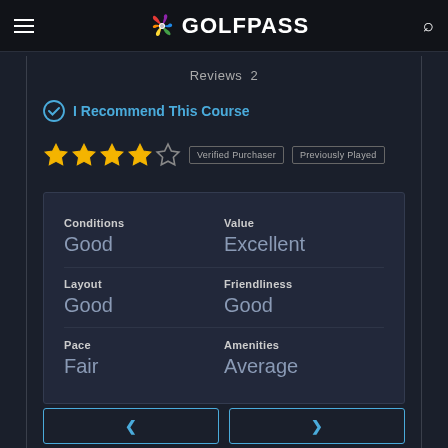GOLFPASS
Reviews 2
I Recommend This Course
[Figure (other): 4 out of 5 stars rating with Verified Purchaser and Previously Played badges]
| Category | Rating |
| --- | --- |
| Conditions | Good |
| Value | Excellent |
| Layout | Good |
| Friendliness | Good |
| Pace | Fair |
| Amenities | Average |